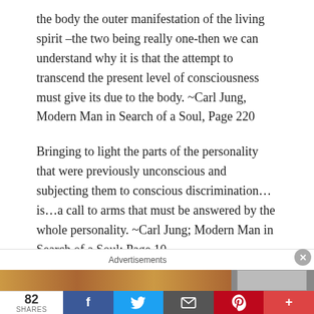the body the outer manifestation of the living spirit –the two being really one-then we can understand why it is that the attempt to transcend the present level of consciousness must give its due to the body. ~Carl Jung, Modern Man in Search of a Soul, Page 220
Bringing to light the parts of the personality that were previously unconscious and subjecting them to conscious discrimination…is…a call to arms that must be answered by the whole personality. ~Carl Jung; Modern Man in Search of a Soul; Page 10.
I have treated many hundreds of patients. Among those
82 SHARES